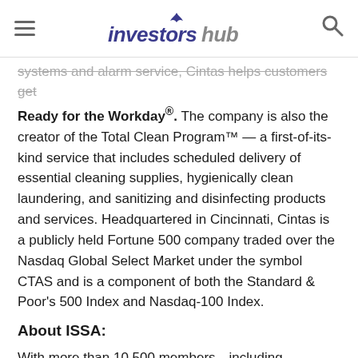investorshub
systems and alarm service, Cintas helps customers get Ready for the Workday®. The company is also the creator of the Total Clean Program™ — a first-of-its-kind service that includes scheduled delivery of essential cleaning supplies, hygienically clean laundering, and sanitizing and disinfecting products and services. Headquartered in Cincinnati, Cintas is a publicly held Fortune 500 company traded over the Nasdaq Global Select Market under the symbol CTAS and is a component of both the Standard & Poor's 500 Index and Nasdaq-100 Index.
About ISSA:
With more than 10,500 members—including distributors, manufacturers, manufacturer representatives, wholesalers, building service contractors, in-house service providers, residential cleaners, and associated service members—